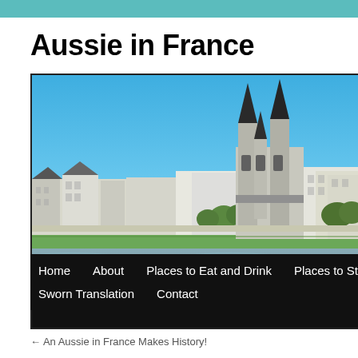Aussie in France
[Figure (photo): Panoramic photo of a French town (Blois) along a river, showing white classical buildings and a Gothic church with tall dark spires against a clear blue sky, with a green riverbank in the foreground.]
Home   About   Places to Eat and Drink   Places to Stay   Recipes   Sworn Translation   Contact
← An Aussie in France Makes History!